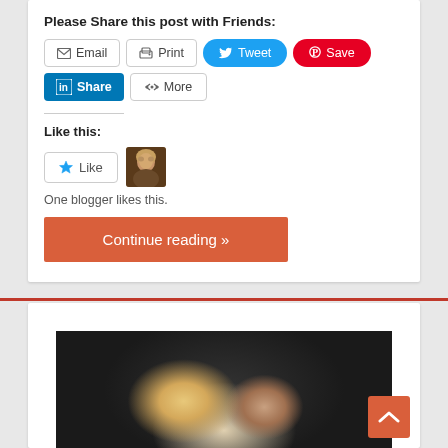Please Share this post with Friends:
[Figure (screenshot): Social sharing buttons: Email, Print, Tweet (Twitter/blue), Save (Pinterest/red), LinkedIn Share (blue), More]
Like this:
[Figure (screenshot): Like button with star icon and blogger avatar thumbnail]
One blogger likes this.
[Figure (screenshot): Orange 'Continue reading »' button]
[Figure (photo): Blurry outdoor photo showing two people with light-colored hair against a dark green background]